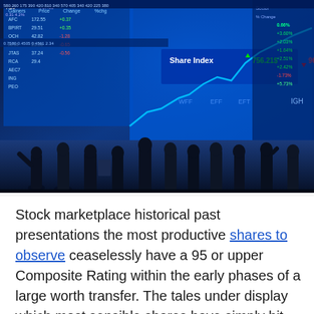[Figure (photo): Stock market trading floor scene with silhouettes of business people standing in front of large blue digital display screens showing share index data, stock prices, ticker symbols, and a rising line chart. Share Index shown as 756.21$ up and 96.87$ down.]
Stock marketplace historical past presentations the most productive shares to observe ceaselessly have a 95 or upper Composite Rating within the early phases of a large worth transfer. The tales under display which most sensible shares have simply hit this benchmark